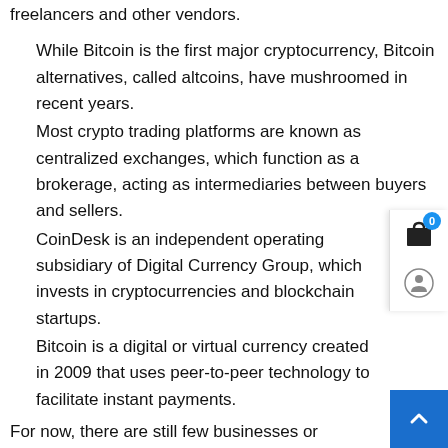freelancers and other vendors.
While Bitcoin is the first major cryptocurrency, Bitcoin alternatives, called altcoins, have mushroomed in recent years.
Most crypto trading platforms are known as centralized exchanges, which function as a brokerage, acting as intermediaries between buyers and sellers.
CoinDesk is an independent operating subsidiary of Digital Currency Group, which invests in cryptocurrencies and blockchain startups.
Bitcoin is a digital or virtual currency created in 2009 that uses peer-to-peer technology to facilitate instant payments.
For now, there are still few businesses or individuals that accept payment in bitcoin. That is one reason you may want to convert your bitcoin to cash— to use the value of